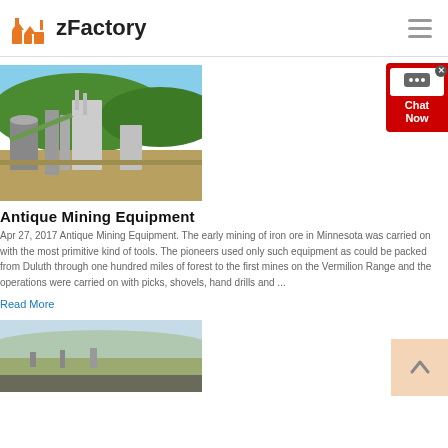zFactory
[Figure (photo): Industrial mining facility with conveyor belts, silos and processing structures against a green hillside and blue sky]
Antique Mining Equipment
Apr 27, 2017  Antique Mining Equipment. The early mining of iron ore in Minnesota was carried on with the most primitive kind of tools. The pioneers used only such equipment as could be packed from Duluth through one hundred miles of forest to the first mines on the Vermilion Range and the operations were carried on with picks, shovels, hand drills and ...
Read More
[Figure (photo): Aerial or wide view of a mining landscape with flat terrain and mountains in background under hazy sky]